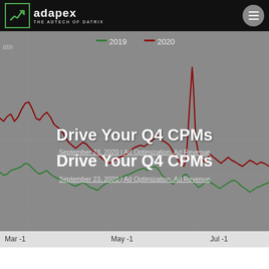adapex — THE ADTECH OF DATRIX
[Figure (continuous-plot): Line chart showing two continuous data series (2019 in green, 2020 in red/dark red) of CPM rates over a time range from approximately March to July. The 2020 line (dark red) shows higher volatility with a sharp spike near Jul-1, while the 2019 line (green) remains lower and smoother. Y-axis not labeled. X-axis shows Mar -1, May -1, Jul -1 tick marks.]
Drive Your Q4 CPMs
September 23, 2020 | Ad Optimization, Ad Revenue